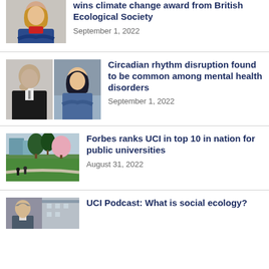[Figure (photo): Portrait photo of a woman in a blue jacket]
wins climate change award from British Ecological Society
September 1, 2022
[Figure (photo): Two portrait photos: man in black suit and woman in blue top]
Circadian rhythm disruption found to be common among mental health disorders
September 1, 2022
[Figure (photo): Campus photo with trees and green lawn]
Forbes ranks UCI in top 10 in nation for public universities
August 31, 2022
[Figure (photo): Portrait photo of a man outdoors near a building]
UCI Podcast: What is social ecology?